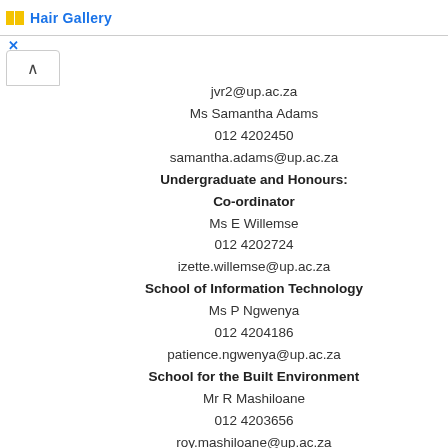Hair Gallery
jvr2@up.ac.za
Ms Samantha Adams
012 4202450
samantha.adams@up.ac.za
Undergraduate and Honours:
Co-ordinator
Ms E Willemse
012 4202724
izette.willemse@up.ac.za
School of Information Technology
Ms P Ngwenya
012 4204186
patience.ngwenya@up.ac.za
School for the Built Environment
Mr R Mashiloane
012 4203656
roy.mashiloane@up.ac.za
School of Psychology